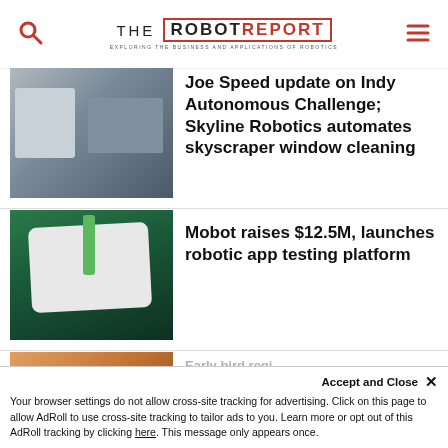THE ROBOT REPORT — EXPLORING THE BUSINESS AND APPLICATIONS OF ROBOTICS
[Figure (photo): Composite image: left shows an industrial robot arm mounted on a building exterior; right shows a team of people in white t-shirts posing with an Indy autonomous racing car on a track.]
Joe Speed update on Indy Autonomous Challenge; Skyline Robotics automates skyscraper window cleaning
[Figure (photo): A robotic arm using a syringe-like tool to interact with a smartphone screen displaying an app interface, set against a dark mechanical background.]
Mobot raises $12.5M, launches robotic app testing platform
[Figure (photo): Partially visible image, cropped at bottom of page.]
Early bird regi...
Your browser settings do not allow cross-site tracking for advertising. Click on this page to allow AdRoll to use cross-site tracking to tailor ads to you. Learn more or opt out of this AdRoll tracking by clicking here. This message only appears once.